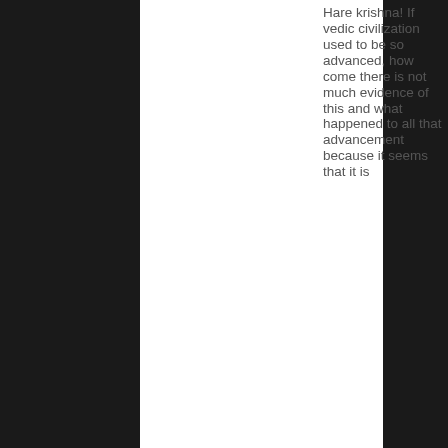Hare krishna! If vedic civilization used to be so advanced, how come there is not much evidence of this and what happened to all that advancement because it seems that it is